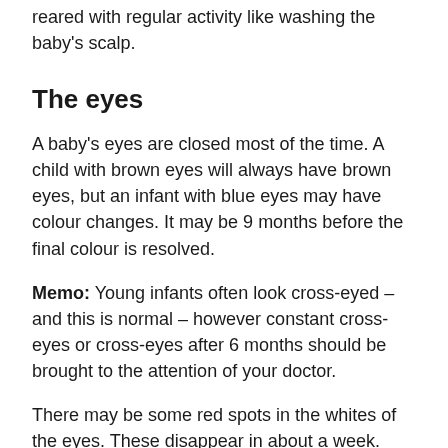reared with regular activity like washing the baby's scalp.
The eyes
A baby's eyes are closed most of the time. A child with brown eyes will always have brown eyes, but an infant with blue eyes may have colour changes. It may be 9 months before the final colour is resolved.
Memo: Young infants often look cross-eyed – and this is normal – however constant cross-eyes or cross-eyes after 6 months should be brought to the attention of your doctor.
There may be some red spots in the whites of the eyes. These disappear in about a week.